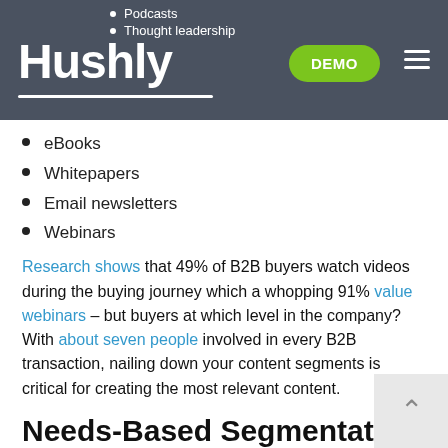Hushly — Podcasts · Thought leadership · DEMO
eBooks
Whitepapers
Email newsletters
Webinars
Research shows that 49% of B2B buyers watch videos during the buying journey which a whopping 91% value webinars – but buyers at which level in the company? With about seven people involved in every B2B transaction, nailing down your content segments is critical for creating the most relevant content.
Needs-Based Segmentation in B2B
Firmographics and content are important, but they don't paint a complete picture of what buyers need.